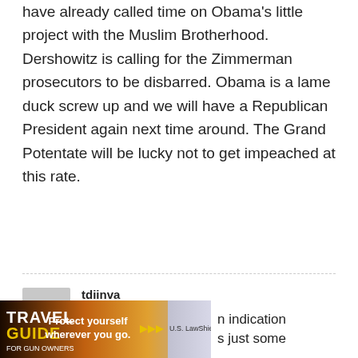have already called time on Obama's little project with the Muslim Brotherhood. Dershowitz is calling for the Zimmerman prosecutors to be disbarred. Obama is a lame duck screw up and we will have a Republican President again next time around. The Grand Potentate will be lucky not to get impeached at this rate.
tdiinva
July 15, 2013 At 07:18
The base doesn't care. What demonstrations did happen were just astroturfed events put on by the usual suspects.
[Figure (infographic): Travel Guide for Gun Owners advertisement banner with text 'Protect yourself wherever you go.' and U.S. LawShield branding, partially obscuring text 'n indication' and 's just some']